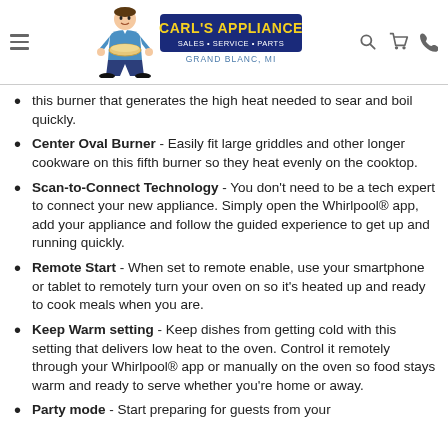[Figure (logo): Carl's Appliance logo with cartoon man, yellow banner reading CARL'S APPLIANCE, SALES SERVICE PARTS, GRAND BLANC, MI]
this burner that generates the high heat needed to sear and boil quickly.
Center Oval Burner - Easily fit large griddles and other longer cookware on this fifth burner so they heat evenly on the cooktop.
Scan-to-Connect Technology - You don't need to be a tech expert to connect your new appliance. Simply open the Whirlpool® app, add your appliance and follow the guided experience to get up and running quickly.
Remote Start - When set to remote enable, use your smartphone or tablet to remotely turn your oven on so it's heated up and ready to cook meals when you are.
Keep Warm setting - Keep dishes from getting cold with this setting that delivers low heat to the oven. Control it remotely through your Whirlpool® app or manually on the oven so food stays warm and ready to serve whether you're home or away.
Party mode - Start preparing for guests from your